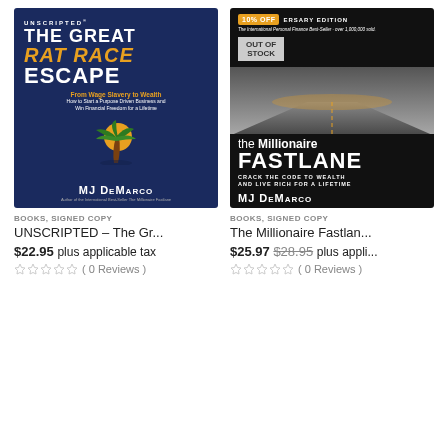[Figure (illustration): Book cover: The Great Rat Race Escape by MJ DeMarco. Dark blue background with large white and gold text, palm tree illustration.]
[Figure (illustration): Book cover: The Millionaire Fastlane by MJ DeMarco. Black background with road photo, 10% OFF badge, OUT OF STOCK label, white and gold text.]
BOOKS, SIGNED COPY
UNSCRIPTED – The Gr...
$22.95 plus applicable tax
( 0 Reviews )
BOOKS, SIGNED COPY
The Millionaire Fastlan...
$25.97 $28.95 plus appli...
( 0 Reviews )